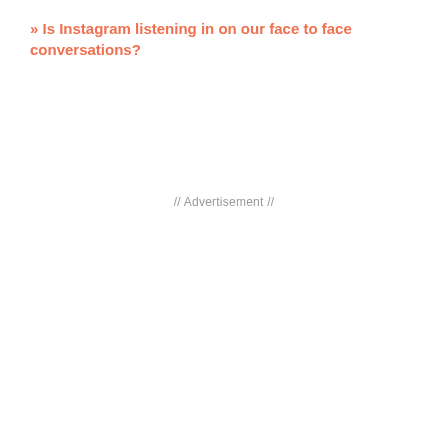» Is Instagram listening in on our face to face conversations?
// Advertisement //